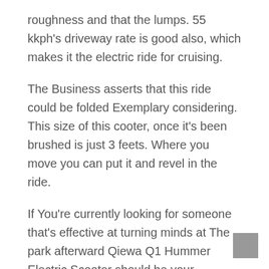roughness and that the lumps. 55 kkph's driveway rate is good also, which makes it the electric ride for cruising.
The Business asserts that this ride could be folded Exemplary considering. This size of this cooter, once it's been brushed is just 3 feets. Where you move you can put it and revel in the ride.
If You're currently looking for someone that's effective at turning minds at The park afterward Qiewa Q1 Hummer Electric Scooter should be your selection.
The dont ever wind here Disk brakes that are